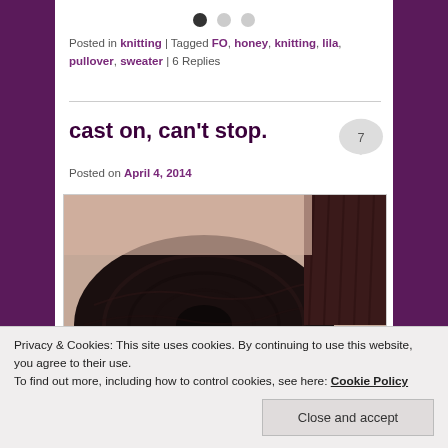• • •
Posted in knitting | Tagged FO, honey, knitting, lila, pullover, sweater | 6 Replies
cast on, can't stop.
Posted on April 4, 2014
[Figure (photo): A dark brown skein/cake of yarn on a light surface, close-up photograph.]
Privacy & Cookies: This site uses cookies. By continuing to use this website, you agree to their use.
To find out more, including how to control cookies, see here: Cookie Policy